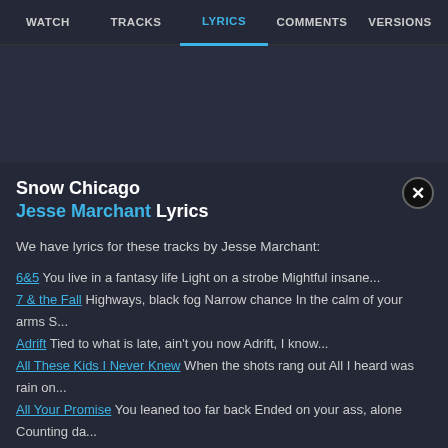WATCH  TRACKS  LYRICS  COMMENTS  VERSIONS
Snow Chicago
Jesse Marchant Lyrics
We have lyrics for these tracks by Jesse Marchant:
6&5 You live in a fantasy life Light on a strobe Mightful insane...
7 & the Fall Highways, black fog Narrow chance In the calm of your arms S...
Adrift Tied to what is late, ain't you now Adrift, I know...
All These Kids I Never Knew When the shots rang out All I heard was rain on...
All Your Promise You leaned too far back Ended on your ass, alone Counting da...